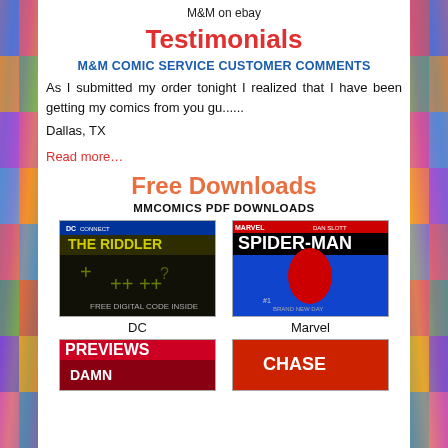M&M on ebay
Testimonials
M&M COMIC SERVICE CUSTOMER COMMENTS
As I submitted my order tonight I realized that I have been getting my comics from you gu......
Dallas, TX
Read more...
Free Downloads
MMCOMICS PDF DOWNLOADS
[Figure (photo): DC comic cover - DC Connect featuring The Riddler]
DC
[Figure (photo): Marvel comic cover - Spider-Man #1 by Dan Slott and Mark Bagley]
Marvel
[Figure (photo): Previews comic catalog cover]
[Figure (photo): Chase comic cover]